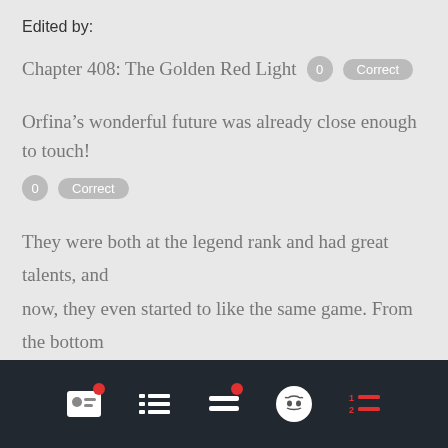Edited by:
Chapter 408: The Golden Red Light  0  Correct
Orfina’s wonderful future was already close enough to touch!  0  Correct
They were both at the legend rank and had great talents, and now, they even started to like the same game. From the bottom of her heart, Orfina thought that Casina was the other half of her life.  0  Correct